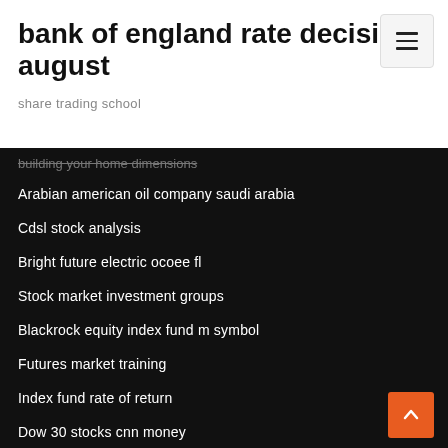bank of england rate decision august
share trading school
Arabian american oil company saudi arabia
Cdsl stock analysis
Bright future electric ocoee fl
Stock market investment groups
Blackrock equity index fund m symbol
Futures market training
Index fund rate of return
Dow 30 stocks cnn money